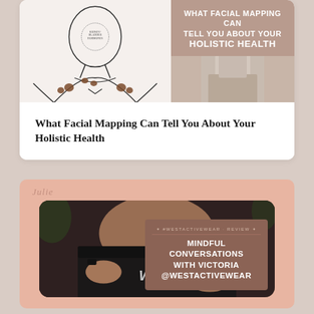[Figure (illustration): Card with face/body mapping illustration on left, pink-brown overlay with text 'WHAT FACIAL MAPPING CAN TELL YOU ABOUT YOUR HOLISTIC HEALTH' on upper right, and clothing photo on lower right]
What Facial Mapping Can Tell You About Your Holistic Health
[Figure (photo): Card with pink background, 'Julie' watermark, photo of person wearing WEST activewear leggings with hands on hips, and brown overlay box with text 'MINDFUL CONVERSATIONS WITH VICTORIA @WESTACTIVEWEAR']